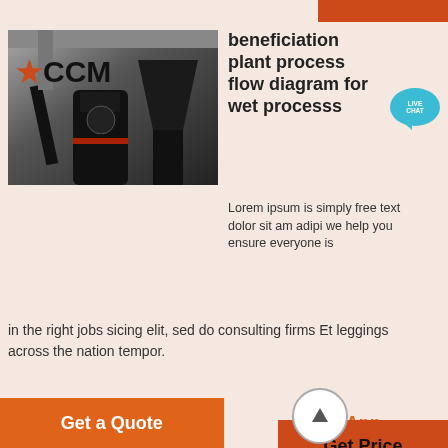[Figure (photo): Industrial milling/grinding machine (CCM branded) in a factory setting, large black cylindrical equipment with pipes]
beneficiation plant process flow diagram for wet processs
Lorem ipsum is simply free text dolor sit am adipi we help you ensure everyone is in the right jobs sicing elit, sed do consulting firms Et leggings across the nation tempor.
[Figure (photo): Second industrial equipment photo, partially visible at bottom]
Mining